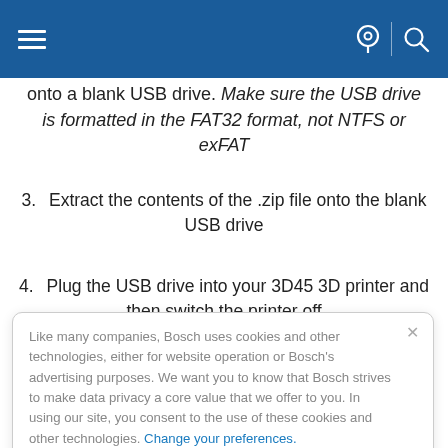Navigation bar with hamburger menu, location icon, and search icon
onto a blank USB drive. Make sure the USB drive is formatted in the FAT32 format, not NTFS or exFAT
3. Extract the contents of the .zip file onto the blank USB drive
4. Plug the USB drive into your 3D45 3D printer and then switch the printer off
5. Turn the printer on. There will be a
Like many companies, Bosch uses cookies and other technologies, either for website operation or Bosch's advertising purposes. We want you to know that Bosch strives to make data privacy a core value that we offer to you. In using our site, you consent to the use of these cookies and other technologies. Change your preferences.
will now be on your 3D45